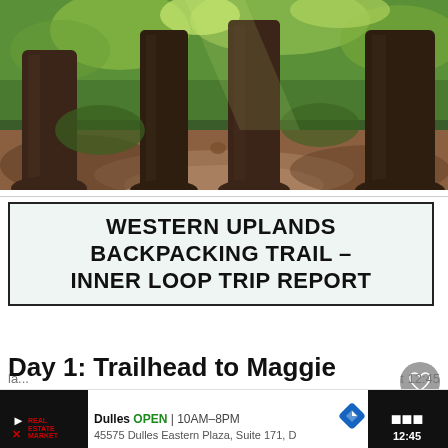[Figure (photo): Forest trail photo showing multiple large tree trunks with dappled sunlight on a dirt path surrounded by green foliage]
WESTERN UPLANDS BACKPACKING TRAIL – INNER LOOP TRIP REPORT
Day 1: Trailhead to Maggie Lake West (12 km)
Dulles OPEN 10AM–8PM 45575 Dulles Eastern Plaza, Suite 171, D